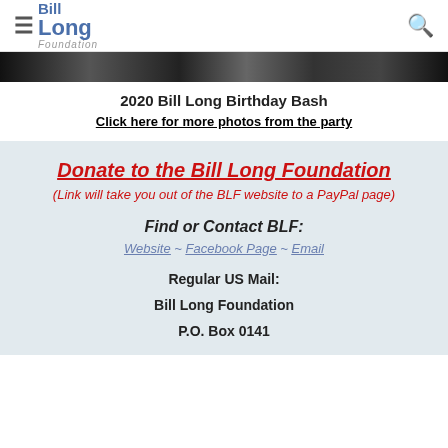Bill Long Foundation — navigation header with hamburger menu and search icon
[Figure (photo): Black and white photo strip showing party/event photos]
2020 Bill Long Birthday Bash
Click here for more photos from the party
Donate to the Bill Long Foundation
(Link will take you out of the BLF website to a PayPal page)
Find or Contact BLF:
Website ~ Facebook Page ~ Email
Regular US Mail:
Bill Long Foundation
P.O. Box 0141